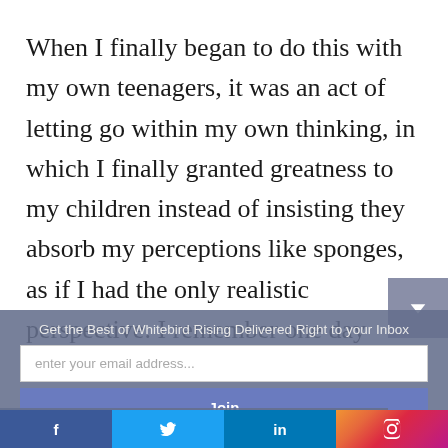When I finally began to do this with my own teenagers, it was an act of letting go within my own thinking, in which I finally granted greatness to my children instead of insisting they absorb my perceptions like sponges, as if I had the only realistic perspective. I remember one day about 1
Get the Best of Whitebird Rising Delivered Right to your Inbox
enter your email address...
Join
couldn't understand what had happened